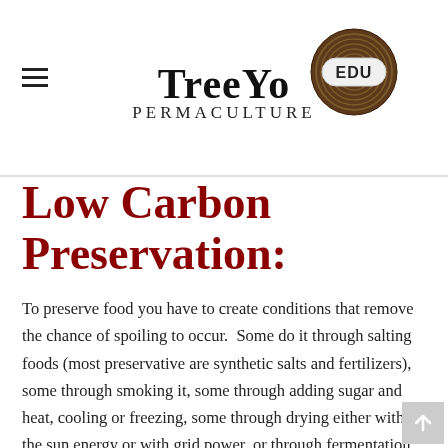TreeYo Permaculture EDU
Low Carbon Preservation:
To preserve food you have to create conditions that remove the chance of spoiling to occur.  Some do it through salting foods (most preservative are synthetic salts and fertilizers), some through smoking it, some through adding sugar and heat, cooling or freezing, some through drying either with the sun energy or with grid power, or through fermentation.  Fermentation offers a great option for this as its preservation comes through microbes doing their work and the attitudinal principle